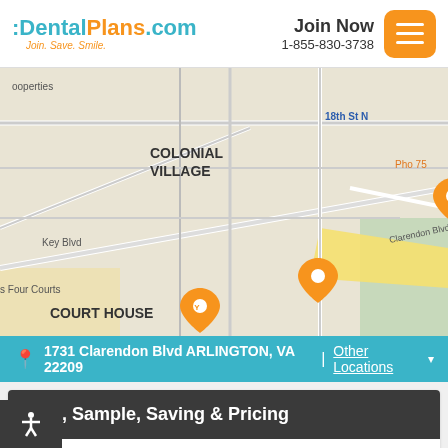DentalPlans.com | Join. Save. Smile. | Join Now | 1-855-830-3738
[Figure (map): Google Maps view showing Rosslyn/Arlington VA area around 1731 Clarendon Blvd ARLINGTON VA 22209, with map pins for Colonial Village, Court House, Radnor-Fort Myer Heights, and US Marine Corps War Memorial areas]
1731 Clarendon Blvd ARLINGTON, VA 22209 | Other Locations
Plan, Sample, Saving & Pricing
Individual | Family    Sort by Price: Low | High